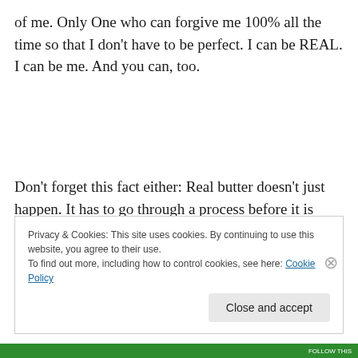of me. Only One who can forgive me 100% all the time so that I don't have to be perfect. I can be REAL. I can be me. And you can, too.
Don't forget this fact either: Real butter doesn't just happen. It has to go through a process before it is ready to be used. I am still in process, too. So be patient with me and I will be patient with you. If we all did that maybe we
Privacy & Cookies: This site uses cookies. By continuing to use this website, you agree to their use.
To find out more, including how to control cookies, see here: Cookie Policy
Close and accept